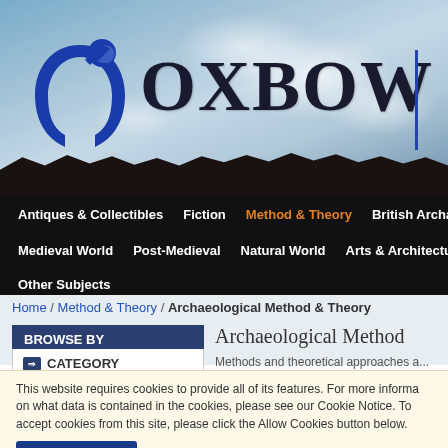[Figure (screenshot): Oxbow Books website header banner with sky/clouds background, Oxbow logo (horseshoe symbol and text), and navigation menu]
OXBOW
Antiques & Collectibles  Fiction  Method & Theory  British Archaeology  Medieval World  Post-Medieval  Natural World  Arts & Architecture  Other Subjects
Home / Method & Theory / Archaeological Method & Theory
BROWSE BY
CATEGORY
Archaeological Method
Methods and theoretical approaches a...
This website requires cookies to provide all of its features. For more informa on what data is contained in the cookies, please see our Cookie Notice. To accept cookies from this site, please click the Allow Cookies button below.
Allow Cookies